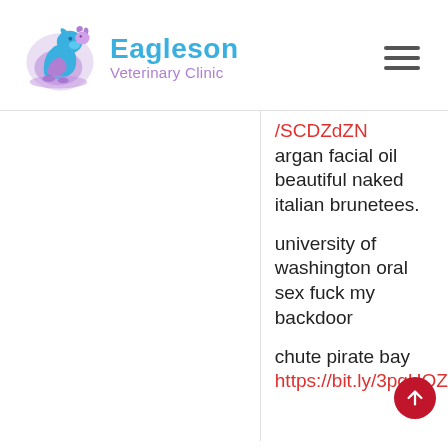[Figure (logo): Eagleson Veterinary Clinic logo with blue and purple animal silhouette and clinic name]
/SCDZdZN argan facial oil beautiful naked italian brunetees. university of washington oral sex fuck my backdoor chute pirate bay https://bit.ly/3pqHQZN